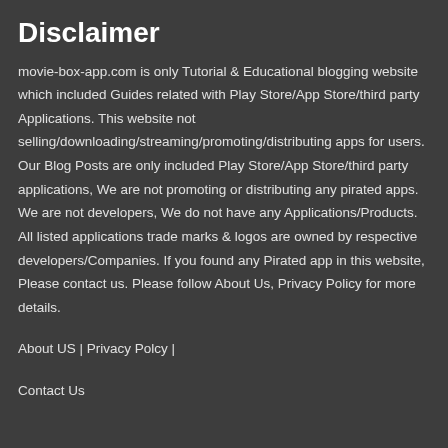Disclaimer
movie-box-app.com is only Tutorial & Educational blogging website which included Guides related with Play Store/App Store/third party Applications. This website not selling/downloading/streaming/promoting/distributing apps for users. Our Blog Posts are only included Play Store/App Store/third party applications, We are not promoting or distributing any pirated apps. We are not developers, We do not have any Applications/Products. All listed applications trade marks & logos are owned by respective developers/Companies. If you found any Pirated app in this website, Please contact us. Please follow About Us, Privacy Policy for more details.
About US | Privacy Polcy |
Contact Us